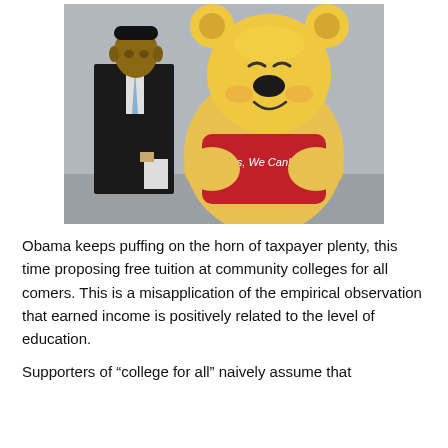[Figure (photo): A photo showing a man in a dark suit standing next to a large Winnie-the-Pooh costume character wearing a red shirt that reads 'Yes, We Can!']
Obama keeps puffing on the horn of taxpayer plenty, this time proposing free tuition at community colleges for all comers. This is a misapplication of the empirical observation that earned income is positively related to the level of education.
Supporters of “college for all” naively assume that